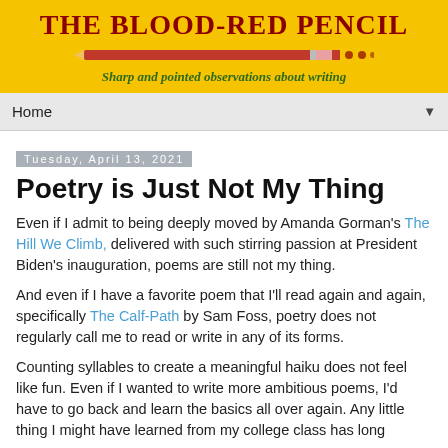[Figure (logo): The Blood-Red Pencil blog banner with yellow background, red pencil graphic, dark red serif title, green italic subtitle 'Sharp and pointed observations about writing']
Home ▼
Tuesday, April 13, 2021
Poetry is Just Not My Thing
Even if I admit to being deeply moved by Amanda Gorman's The Hill We Climb, delivered with such stirring passion at President Biden's inauguration, poems are still not my thing.
And even if I have a favorite poem that I'll read again and again, specifically The Calf-Path by Sam Foss, poetry does not regularly call me to read or write in any of its forms.
Counting syllables to create a meaningful haiku does not feel like fun. Even if I wanted to write more ambitious poems, I'd have to go back and learn the basics all over again. Any little thing I might have learned from my college class has long